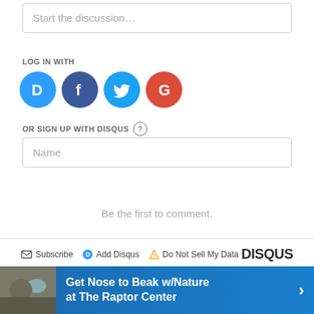Start the discussion…
LOG IN WITH
[Figure (other): Social login icons: Disqus (blue D), Facebook (dark blue F), Twitter (light blue bird), Google (red G)]
OR SIGN UP WITH DISQUS ?
Name
Be the first to comment.
Subscribe  Add Disqus  Do Not Sell My Data   DISQUS
Previous Post
Next Post
close ✕
[Figure (photo): Advertisement banner: Get Nose to Beak w/Nature at The Raptor Center with arrow, blue background with photo of person and bird]